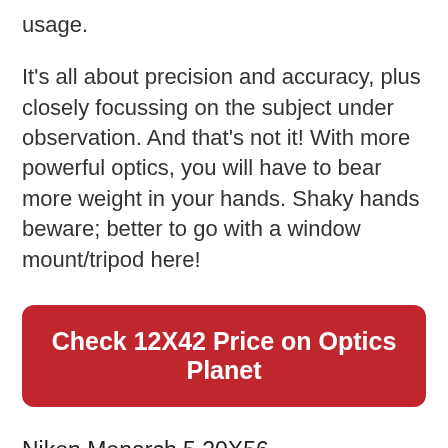usage.
It's all about precision and accuracy, plus closely focussing on the subject under observation. And that's not it! With more powerful optics, you will have to bear more weight in your hands. Shaky hands beware; better to go with a window mount/tripod here!
Check 12X42 Price on Optics Planet
Nikon Monarch 5 20X56
Nikon Monarch 5 20×56 binoculars are purely